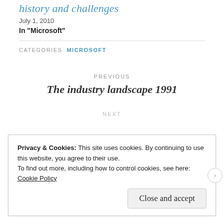history and challenges
July 1, 2010
In "Microsoft"
CATEGORIES  MICROSOFT
PREVIOUS
The industry landscape 1991
NEXT
Privacy & Cookies: This site uses cookies. By continuing to use this website, you agree to their use.
To find out more, including how to control cookies, see here:
Cookie Policy
Close and accept